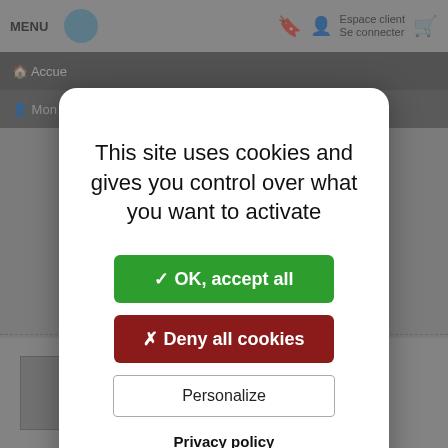[Figure (screenshot): Greyed-out background of a French website (bookstore/media site) with navigation bar showing MENU, user icon, bookmark, Se connecter, and cart icons. A cookie consent modal dialog is overlaid in the center.]
This site uses cookies and gives you control over what you want to activate
✓ OK, accept all
✗ Deny all cookies
Personalize
Privacy policy